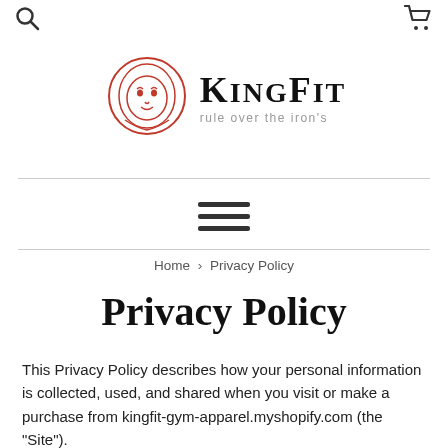Search | Cart
[Figure (logo): KingFit logo with red lion illustration and text 'KINGFIT — rule over the iron’s']
Home › Privacy Policy
Privacy Policy
This Privacy Policy describes how your personal information is collected, used, and shared when you visit or make a purchase from kingfit-gym-apparel.myshopify.com (the “Site”).